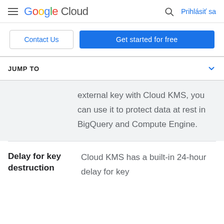Google Cloud  Prihlásiť sa
Contact Us
Get started for free
JUMP TO
external key with Cloud KMS, you can use it to protect data at rest in BigQuery and Compute Engine.
Delay for key destruction
Cloud KMS has a built-in 24-hour delay for key